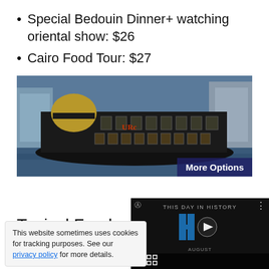Special Bedouin Dinner+ watching oriental show: $26
Cairo Food Tour: $27
[Figure (photo): A large ornate dinner cruise boat on a river with city buildings in background, with 'More Options' overlay button]
Typical Food p... Petersburg
This website sometimes uses cookies for tracking purposes. See our privacy policy for more details.
[Figure (screenshot): Video player showing 'THIS DAY IN HISTORY' with play button, mute icon, progress bar, and fullscreen button. AUGUST label visible.]